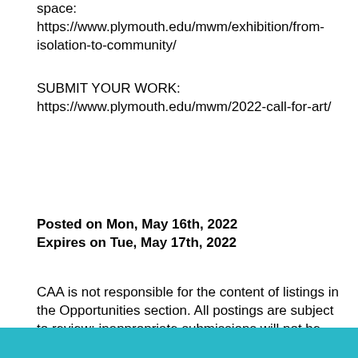space: https://www.plymouth.edu/mwm/exhibition/from-isolation-to-community/
SUBMIT YOUR WORK: https://www.plymouth.edu/mwm/2022-call-for-art/
Posted on Mon, May 16th, 2022
Expires on Tue, May 17th, 2022
CAA is not responsible for the content of listings in the Opportunities section. All postings are subject to review; inappropriate submissions will not be published.